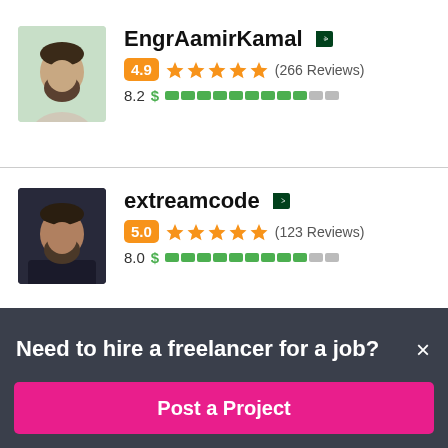[Figure (photo): Profile photo of EngrAamirKamal, a man with beard on light green background]
EngrAamirKamal
[Figure (illustration): Pakistan flag icon]
4.9 ★★★★★ (266 Reviews)
8.2 $ ██████████░░
[Figure (photo): Profile photo of extreamcode, a man with beard on dark background]
extreamcode
[Figure (illustration): Pakistan flag icon]
5.0 ★★★★★ (123 Reviews)
8.0 $ ██████████░░
Need to hire a freelancer for a job?
Post a Project